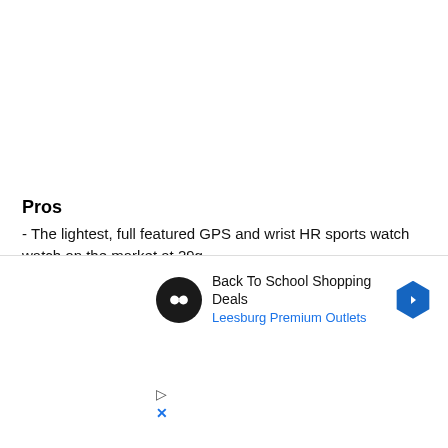Pros
- The lightest, full featured GPS and wrist HR sports watch watch on the market at 29g
- Superb fit and comfort from its thin profile, chafe free nylon woven strap and hinge design. Ideal for skinny wrists such as mine
- Solid spike free wrist HR in part likely due to the great on
[Figure (screenshot): Advertisement overlay: Back To School Shopping Deals - Leesburg Premium Outlets, with infinity logo icon and blue diamond arrow icon, play and close (X) controls]